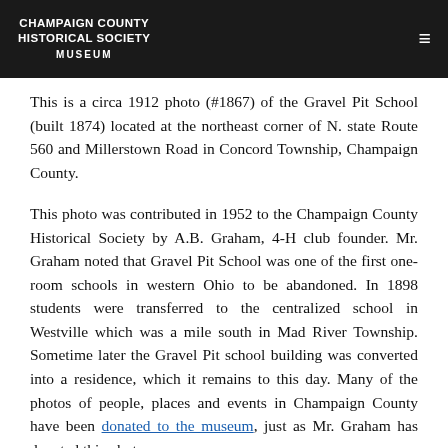CHAMPAIGN COUNTY HISTORICAL SOCIETY MUSEUM
This is a circa 1912 photo (#1867) of the Gravel Pit School (built 1874) located at the northeast corner of N. state Route 560 and Millerstown Road in Concord Township, Champaign County.
This photo was contributed in 1952 to the Champaign County Historical Society by A.B. Graham, 4-H club founder. Mr. Graham noted that Gravel Pit School was one of the first one-room schools in western Ohio to be abandoned. In 1898 students were transferred to the centralized school in Westville which was a mile south in Mad River Township. Sometime later the Gravel Pit school building was converted into a residence, which it remains to this day. Many of the photos of people, places and events in Champaign County have been donated to the museum, just as Mr. Graham has donated this photo.